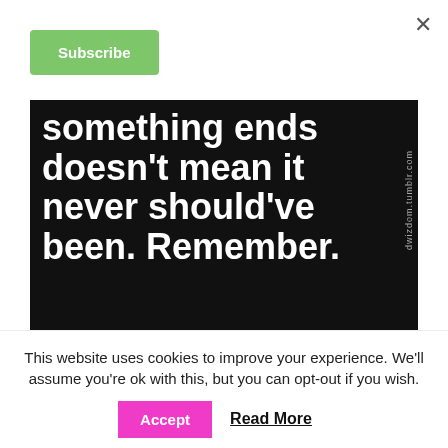×
Subscribe
[Figure (illustration): Black background image with large white bold text reading: 'something ends doesn't mean it never should've been. Remember.' with watermark 'dwizdom.tumblr.com' on the right side.]
This website uses cookies to improve your experience. We'll assume you're ok with this, but you can opt-out if you wish.
Accept
Read More